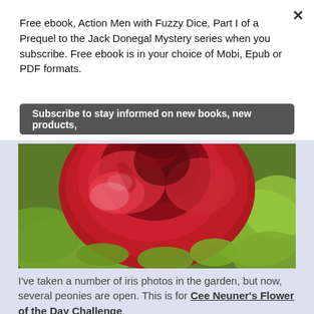Free ebook, Action Men with Fuzzy Dice, Part I of a Prequel to the Jack Donegal Mystery series when you subscribe. Free ebook is in your choice of Mobi, Epub or PDF formats.
Subscribe to stay informed on new books, new products,
[Figure (photo): Close-up photo of a large red peony flower in bloom surrounded by green leaves]
I've taken a number of iris photos in the garden, but now, several peonies are open. This is for Cee Neuner's Flower of the Day Challenge.